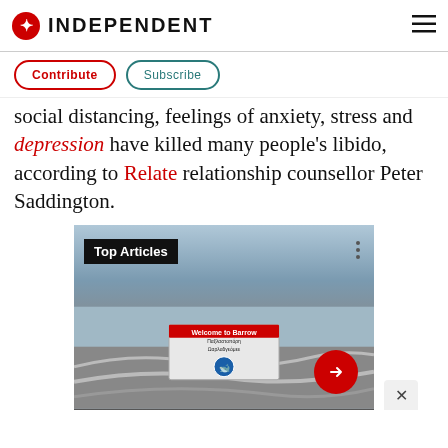INDEPENDENT
Contribute  Subscribe
social distancing, feelings of anxiety, stress and depression have killed many people's libido, according to Relate relationship counsellor Peter Saddington.
[Figure (screenshot): Video widget showing 'Top Articles' label with a snowy road scene and a red arrow button to advance, plus a close (×) button.]